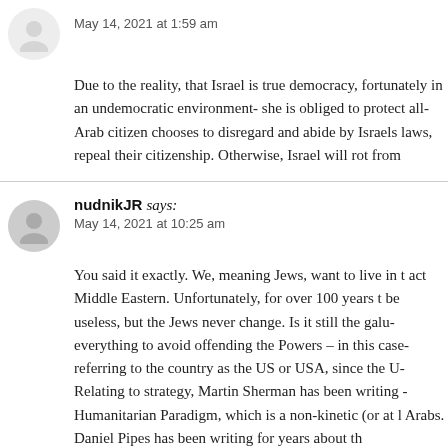May 14, 2021 at 1:59 am
Due to the reality, that Israel is true democracy, fortunately in an undemocratic environment- she is obliged to protect all… Arab citizen chooses to disregard and abide by Israels laws, repeal their citizenship. Otherwise, Israel will rot from…
nudnikJR says:
May 14, 2021 at 10:25 am
You said it exactly. We, meaning Jews, want to live in t… act Middle Eastern. Unfortunately, for over 100 years t… be useless, but the Jews never change. Is it still the galu… everything to avoid offending the Powers – in this case… referring to the country as the US or USA, since the U… Relating to strategy, Martin Sherman has been writing … Humanitarian Paradigm, which is a non-kinetic (or at l… Arabs. Daniel Pipes has been writing for years about th…